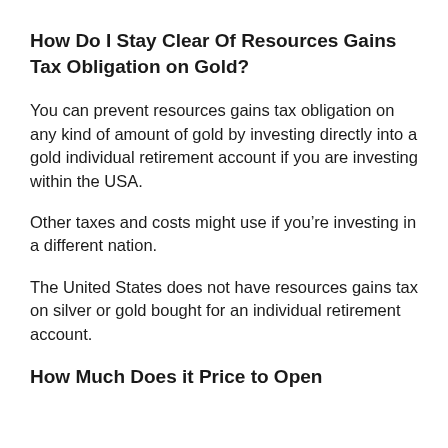How Do I Stay Clear Of Resources Gains Tax Obligation on Gold?
You can prevent resources gains tax obligation on any kind of amount of gold by investing directly into a gold individual retirement account if you are investing within the USA.
Other taxes and costs might use if you’re investing in a different nation.
The United States does not have resources gains tax on silver or gold bought for an individual retirement account.
How Much Does it Price to Open